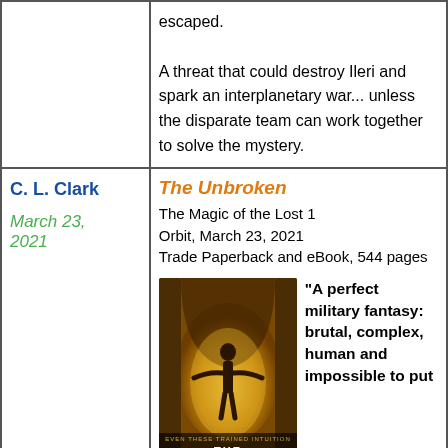escaped.

A threat that could destroy Ileri and spark an interplanetary war... unless the disparate team can work together to solve the mystery.
C. L. Clark
March 23, 2021
The Unbroken
The Magic of the Lost 1
Orbit, March 23, 2021
Trade Paperback and eBook, 544 pages
[Figure (illustration): Book cover of The Unbroken by C.L. Clark showing a figure with arms outstretched in an archway with golden/amber lighting]
"A perfect military fantasy: brutal, complex, human and impossible to put